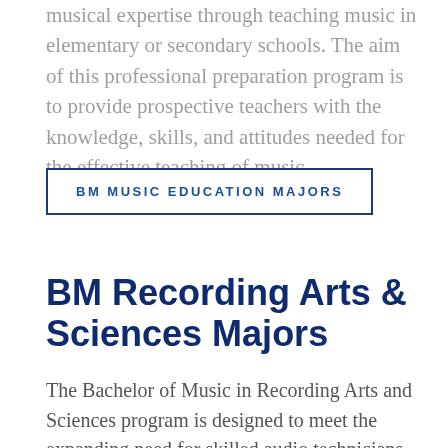musical expertise through teaching music in elementary or secondary schools. The aim of this professional preparation program is to provide prospective teachers with the knowledge, skills, and attitudes needed for the effective teaching of music.
BM MUSIC EDUCATION MAJORS
BM Recording Arts & Sciences Majors
The Bachelor of Music in Recording Arts and Sciences program is designed to meet the expanding need for skilled audio technicians, producers, and engineers who possess both technical expertise and